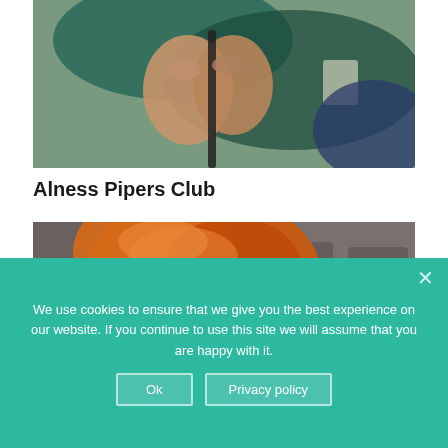[Figure (photo): Close-up photo of hands gripping a walking stick/cane, person wearing teal/green clothing]
Alness Pipers Club
[Figure (photo): Close-up photo of a woman with reddish-orange hair, slightly blurred background with dark shapes]
We use cookies to ensure that we give you the best experience on our website. If you continue to use this site we will assume that you are happy with it.
Ok   Privacy policy